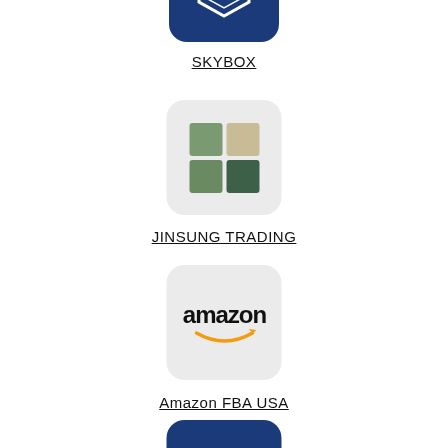[Figure (logo): SKYBOX logo - dark blue rounded rectangle with diamond/hexagon outline icon and SKYBOX text in white]
SKYBOX
[Figure (logo): JINSUNG TRADING logo - light gray rounded rectangle with 4 colored squares in a 2x2 grid: top-left sage green, top-right khaki/tan, bottom-left medium green, bottom-right dark green]
JINSUNG TRADING
[Figure (logo): Amazon FBA USA logo - light gray rounded rectangle with Amazon wordmark in black and orange smile/arrow]
Amazon FBA USA
[Figure (logo): Dark blue rounded rectangle with a white half-circle/crescent shape icon - partially visible at bottom of page]